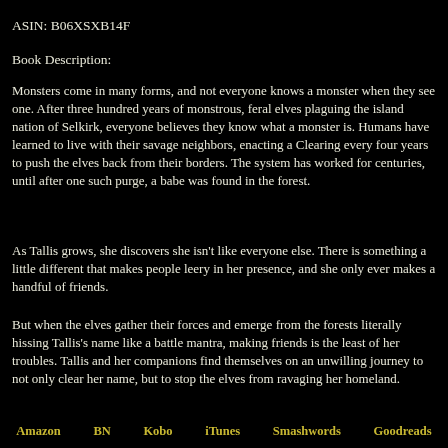ASIN: B06XSXB14F
Book Description:
Monsters come in many forms, and not everyone knows a monster when they see one. After three hundred years of monstrous, feral elves plaguing the island nation of Selkirk, everyone believes they know what a monster is. Humans have learned to live with their savage neighbors, enacting a Clearing every four years to push the elves back from their borders. The system has worked for centuries, until after one such purge, a babe was found in the forest.
As Tallis grows, she discovers she isn't like everyone else. There is something a little different that makes people leery in her presence, and she only ever makes a handful of friends.
But when the elves gather their forces and emerge from the forests literally hissing Tallis's name like a battle mantra, making friends is the least of her troubles. Tallis and her companions find themselves on an unwilling journey to not only clear her name, but to stop the elves from ravaging her homeland.
Amazon   BN   Kobo   iTunes   Smashwords   Goodreads